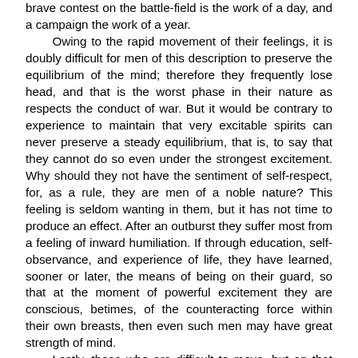brave contest on the battle-field is the work of a day, and a campaign the work of a year.

Owing to the rapid movement of their feelings, it is doubly difficult for men of this description to preserve the equilibrium of the mind; therefore they frequently lose head, and that is the worst phase in their nature as respects the conduct of war. But it would be contrary to experience to maintain that very excitable spirits can never preserve a steady equilibrium, that is, to say that they cannot do so even under the strongest excitement. Why should they not have the sentiment of self-respect, for, as a rule, they are men of a noble nature? This feeling is seldom wanting in them, but it has not time to produce an effect. After an outburst they suffer most from a feeling of inward humiliation. If through education, self-observance, and experience of life, they have learned, sooner or later, the means of being on their guard, so that at the moment of powerful excitement they are conscious, betimes, of the counteracting force within their own breasts, then even such men may have great strength of mind.

Lastly, those who are difficult to move, but on that account susceptible of very deep feelings; men who stand in the same relation to the preceding as red heat to a flame are the best adapted by means of their Titanic strength to roll away the enormous masses, by which we may figuratively represent the